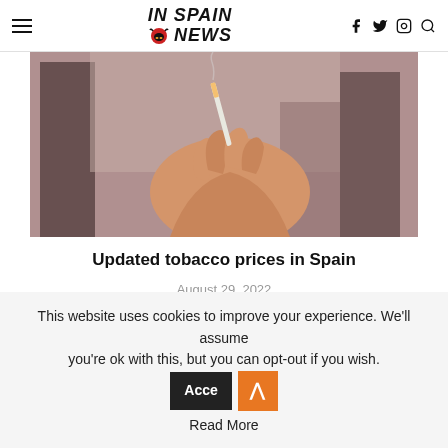IN SPAIN NEWS
[Figure (photo): A hand holding a lit cigarette against a blurred background of buildings]
Updated tobacco prices in Spain
August 29, 2022
This website uses cookies to improve your experience. We'll assume you're ok with this, but you can opt-out if you wish. Read More